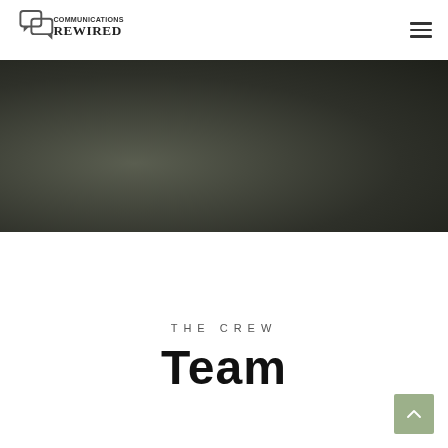Communications Rewired — navigation header with logo and hamburger menu
[Figure (photo): Dark olive/charcoal blurred background hero banner image]
THE CREW
Team